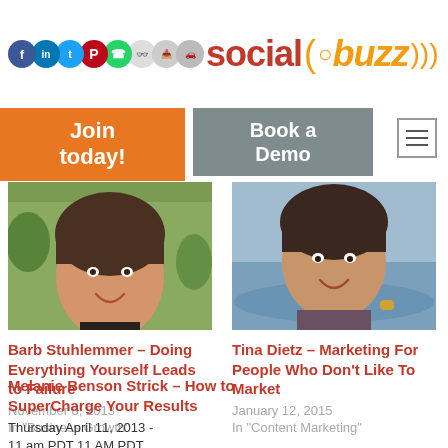[Figure (logo): Social Buzz U logo with social media icons (Facebook, LinkedIn, Twitter, Pinterest, WhatsApp, and others) above text reading 'social (( buzz ))' in red and yellow, plus a U circle icon]
Join today!
Book a Demo
[Figure (photo): Portrait photo of Barb Stuhlemmer, woman smiling, outdoors green background]
Barb Stuhlemmer – Doing Everything Yourself Leads to Failure
November 8, 2013
In "Business Growth"
[Figure (photo): Portrait photo of Tina Dietz, woman smiling, pool/water background]
Tina Dietz – Marketing For People Who Don't Like To Market
January 12, 2015
In "Content Marketing"
Melanie Benson Strick – How to SuperCharge Your Results
Thursday April 11, 2013 - 11 am PDT 11 AM PDT